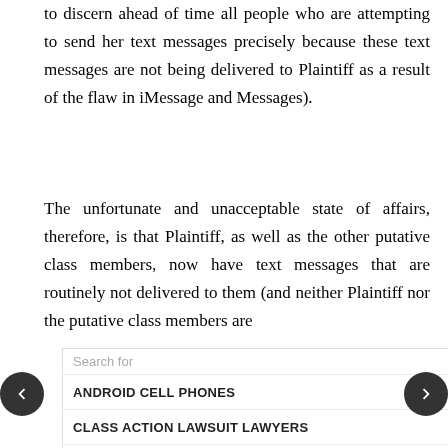to discern ahead of time all people who are attempting to send her text messages precisely because these text messages are not being delivered to Plaintiff as a result of the flaw in iMessage and Messages).
The unfortunate and unacceptable state of affairs, therefore, is that Plaintiff, as well as the other putative class members, now have text messages that are routinely not delivered to them (and neither Plaintiff nor the putative class members are [likely] be[ing notified], ge[nerate] an[y] out